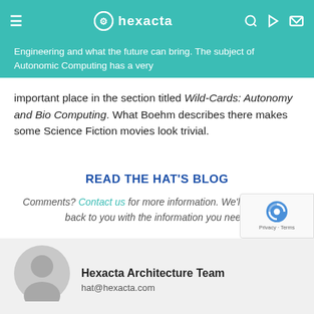hexacta
Engineering and what the future can bring. The subject of Autonomic Computing has a very important place in the section titled Wild-Cards: Autonomy and Bio Computing. What Boehm describes there makes some Science Fiction movies look trivial.
READ THE HAT'S BLOG
Comments? Contact us for more information. We'll quickly get back to you with the information you need.
SUBSCRIBE TO OUR NEWSLETTER
No related posts.
Hexacta Architecture Team
hat@hexacta.com